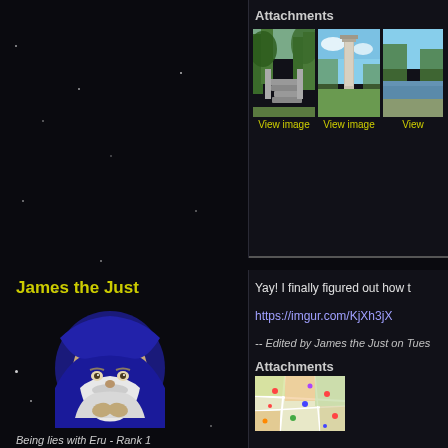[Figure (screenshot): Forum post screenshot with dark space background, two-column layout. Left column shows user profile with name, avatar, rank, and info. Right column shows attachments with image thumbnails and post content.]
Attachments
[Figure (photo): Forest staircase/path with stone steps among trees]
[Figure (photo): Tall stone pillar/monument in a park setting]
[Figure (photo): Waterway or canal with trees]
View image
View image
View
James the Just
[Figure (illustration): Fantasy wizard character avatar with blue hood and white beard]
Being lies with Eru - Rank 1
🔥
Status: Offline
Posts: 132
Date: Aug 7, 2018
Yay!  I finally figured out how t
https://imgur.com/KjXh3jX
-- Edited by James the Just on Tues
Attachments
[Figure (map): Colorful map with various markers/pins]